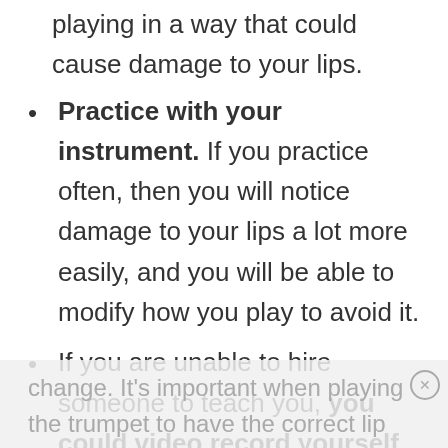playing in a way that could cause damage to your lips.
Practice with your instrument. If you practice often, then you will notice damage to your lips a lot more easily, and you will be able to modify how you play to avoid it.
If you are unable to hire someone to teach you, you could video record yourself. Watch the videos you have recorded to see if you notice any areas you need to fix or
change. It's important when playing the trumpet to have the correct lip